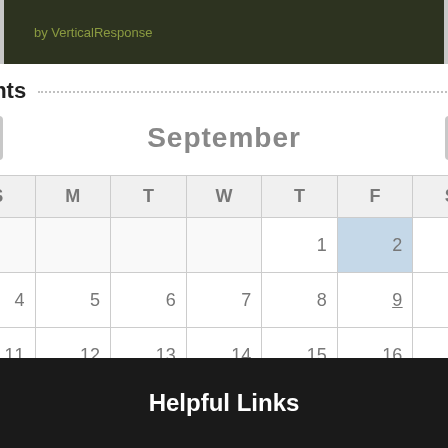[Figure (screenshot): Dark olive green banner with text 'by VerticalResponse']
Events
| S | M | T | W | T | F | S |
| --- | --- | --- | --- | --- | --- | --- |
|  |  |  |  | 1 | 2 | 3 |
| 4 | 5 | 6 | 7 | 8 | 9 | 10 |
| 11 | 12 | 13 | 14 | 15 | 16 | 17 |
| 18 | 19 | 20 | 21 | 22 | 23 | 24 |
| 25 | 26 | 27 | 28 | 29 | 30 |  |
Helpful Links